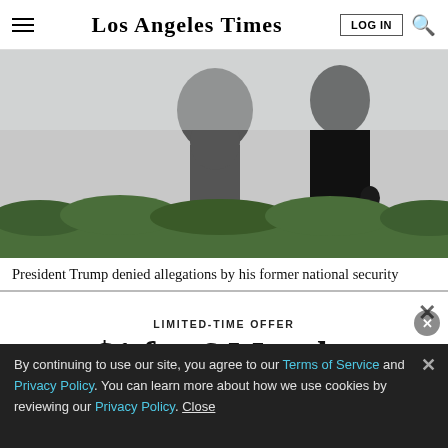Los Angeles Times
[Figure (photo): Two figures walking, silhouetted against a light background, with green hedges/bushes in the foreground; appears to be President Trump and another person outdoors.]
President Trump denied allegations by his former national security advisor that he withheld his story for Ukraine to investigate...
LIMITED-TIME OFFER
$1 for 6 Months
SUBSCRIBE NOW
By continuing to use our site, you agree to our Terms of Service and Privacy Policy. You can learn more about how we use cookies by reviewing our Privacy Policy. Close